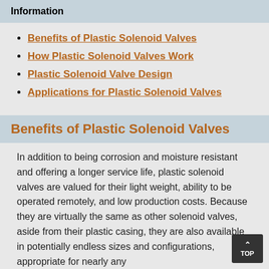Information
Benefits of Plastic Solenoid Valves
How Plastic Solenoid Valves Work
Plastic Solenoid Valve Design
Applications for Plastic Solenoid Valves
Benefits of Plastic Solenoid Valves
In addition to being corrosion and moisture resistant and offering a longer service life, plastic solenoid valves are valued for their light weight, ability to be operated remotely, and low production costs. Because they are virtually the same as other solenoid valves, aside from their plastic casing, they are also available in potentially endless sizes and configurations, appropriate for nearly any